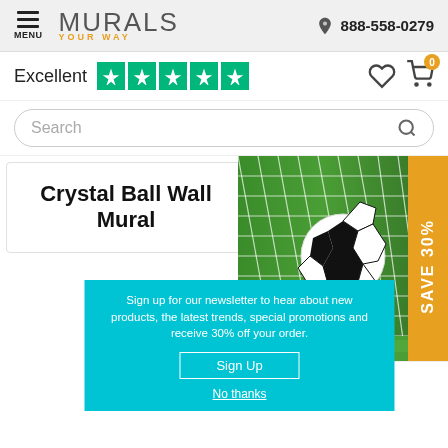MURALS YOUR WAY — 888-558-0279
Excellent ★★★★★
Search
Crystal Ball Wall Mural
[Figure (photo): Soccer ball hitting goal net on green grass field, with orange SAVE 30% badge on the right side]
Soccer Ball Score ural
Sign up for our newsletter to hear about new products, the latest trends, special promotions and receive 30% off your order.
Sign Up
No thanks